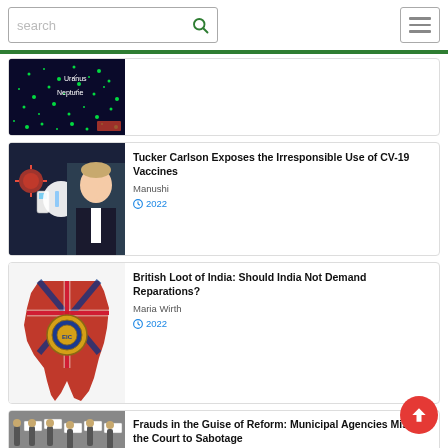search [search icon] [hamburger menu]
[Figure (photo): Space/astronomy image with green dots on dark background showing Uranus and Neptune labels]
[Figure (photo): Tucker Carlson with vaccine imagery - man in suit pointing finger, vaccine vials and virus particles]
Tucker Carlson Exposes the Irresponsible Use of CV-19 Vaccines
Manushi
2022
[Figure (illustration): Map of India shaped in red with British colonial flag overlay and East India Company seal]
British Loot of India: Should India Not Demand Reparations?
Maria Wirth
2022
[Figure (photo): People holding protest signs]
Frauds in the Guise of Reform: Municipal Agencies Mislead the Court to Sabotage